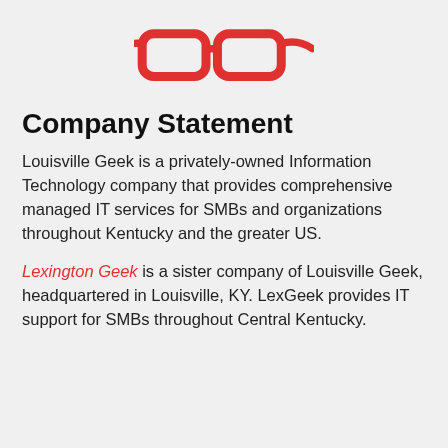[Figure (logo): Red outline illustration of eyeglasses/spectacles logo for Louisville Geek / Lexington Geek]
Company Statement
Louisville Geek is a privately-owned Information Technology company that provides comprehensive managed IT services for SMBs and organizations throughout Kentucky and the greater US.
Lexington Geek is a sister company of Louisville Geek, headquartered in Louisville, KY. LexGeek provides IT support for SMBs throughout Central Kentucky.